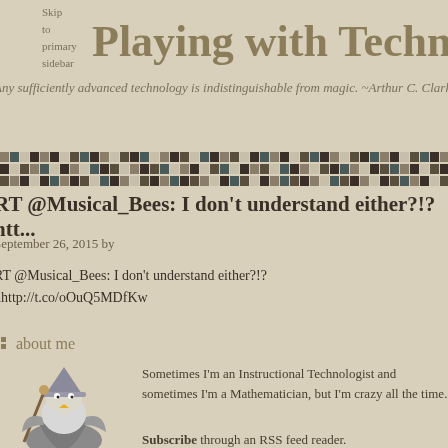Skip to
primary
sidebar
Playing with Technology
Any sufficiently advanced technology is indistinguishable from magic. ~Arthur C. Clarke
[Figure (illustration): Decorative pixel/mosaic pattern bar with alternating dark and light colored squares]
RT @Musical_Bees: I don't understand either?!? htt...
September 26, 2015 by
RT @Musical_Bees: I don't understand either?!?
hhttp://t.co/oOuQ5MDfKw
about me
[Figure (illustration): Cartoon wizard penguin with staff and hat]
Sometimes I'm an Instructional Technologist and sometimes I'm a Mathematician, but I'm crazy all the time.
Subscribe through an RSS feed reader.